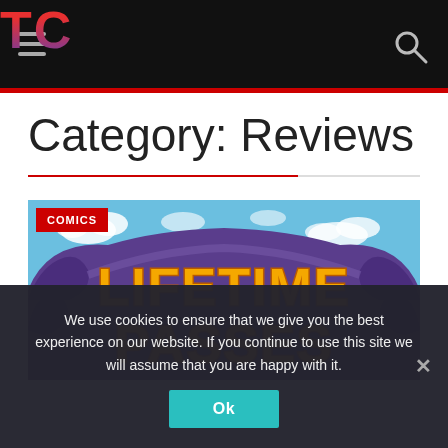TC
Category: Reviews
[Figure (illustration): Illustration of a purple banner arch with orange text reading LIFETIME PASSES against a blue sky background, with a red COMICS badge in top left corner]
We use cookies to ensure that we give you the best experience on our website. If you continue to use this site we will assume that you are happy with it.